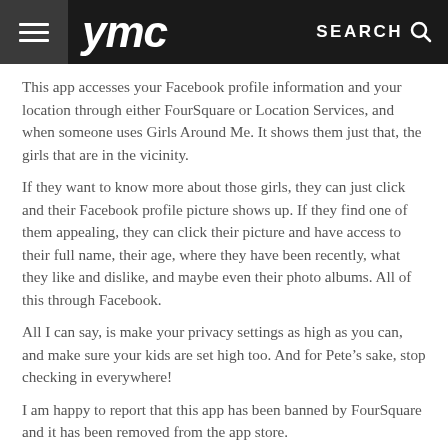ymc  SEARCH
This app accesses your Facebook profile information and your location through either FourSquare or Location Services, and when someone uses Girls Around Me. It shows them just that, the girls that are in the vicinity.
If they want to know more about those girls, they can just click and their Facebook profile picture shows up. If they find one of them appealing, they can click their picture and have access to their full name, their age, where they have been recently, what they like and dislike, and maybe even their photo albums. All of this through Facebook.
All I can say, is make your privacy settings as high as you can, and make sure your kids are set high too. And for Pete's sake, stop checking in everywhere!
I am happy to report that this app has been banned by FourSquare and it has been removed from the app store.